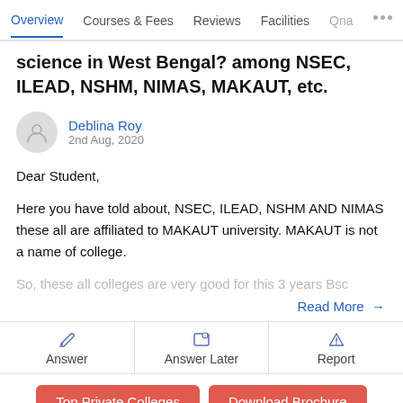Overview  Courses & Fees  Reviews  Facilities  Qna ...
science in West Bengal? among NSEC, ILEAD, NSHM, NIMAS, MAKAUT, etc.
Deblina Roy
2nd Aug, 2020
Dear Student,

Here you have told about, NSEC, ILEAD, NSHM AND NIMAS these all are affiliated to MAKAUT university. MAKAUT is not a name of college.

So, these all colleges are very good for this 3 years Bsc
Read More →
Answer  Answer Later  Report
Top Private Colleges  Download Brochure  Add to Compare